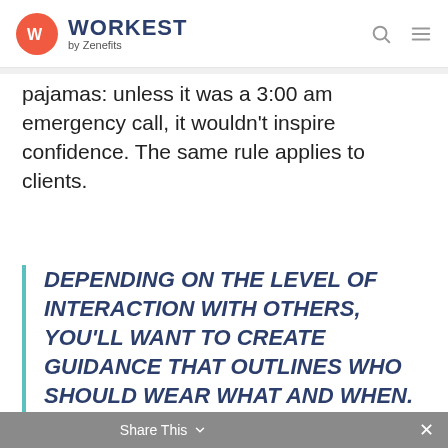WORKEST by Zenefits
pajamas: unless it was a 3:00 am emergency call, it wouldn't inspire confidence. The same rule applies to clients.
DEPENDING ON THE LEVEL OF INTERACTION WITH OTHERS, YOU'LL WANT TO CREATE GUIDANCE THAT OUTLINES WHO SHOULD WEAR WHAT AND WHEN.
Share This  ×